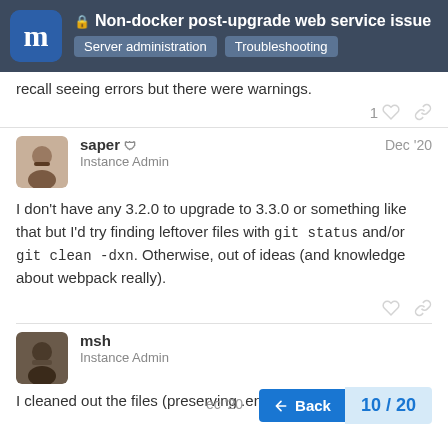Non-docker post-upgrade web service issue
recall seeing errors but there were warnings.
saper  Instance Admin  Dec '20
I don't have any 3.2.0 to upgrade to 3.3.0 or something like that but I'd try finding leftover files with git status and/or git clean -dxn. Otherwise, out of ideas (and knowledge about webpack really).
msh Instance Admin Dec '20
I cleaned out the files (preserving .env.pro...